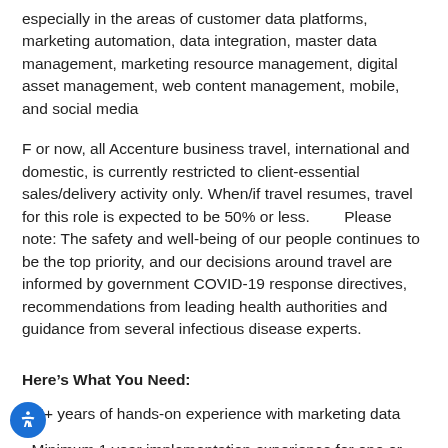especially in the areas of customer data platforms, marketing automation, data integration, master data management, marketing resource management, digital asset management, web content management, mobile, and social media
For now, all Accenture business travel, international and domestic, is currently restricted to client-essential sales/delivery activity only. When/if travel resumes, travel for this role is expected to be 50% or less.          Please note: The safety and well-being of our people continues to be the top priority, and our decisions around travel are informed by government COVID-19 response directives, recommendations from leading health authorities and guidance from several infectious disease experts.
Here’s What You Need:
+ 5+ years of hands-on experience with marketing data
- Minimum 1 year implementation experience for one or more